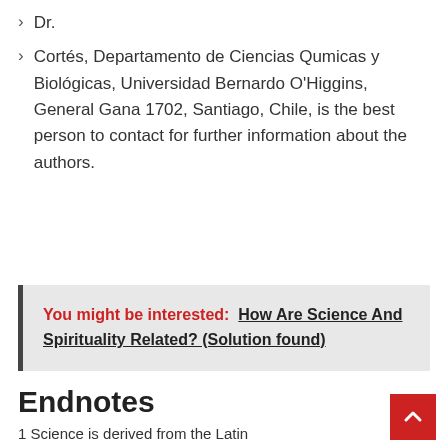Dr.
Cortés, Departamento de Ciencias Qumicas y Biológicas, Universidad Bernardo O'Higgins, General Gana 1702, Santiago, Chile, is the best person to contact for further information about the authors.
You might be interested:  How Are Science And Spirituality Related? (Solution found)
Endnotes
1 Science is derived from the Latin